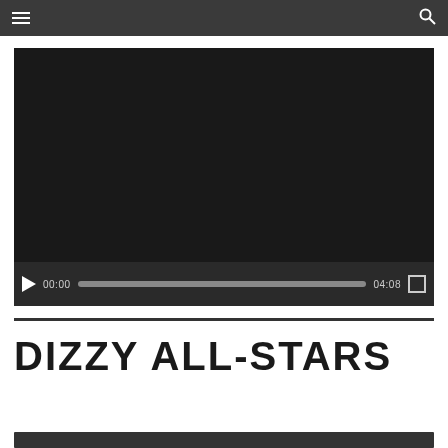Navigation bar with menu and search icons
[Figure (screenshot): Embedded video player showing a black screen with playback controls: play button, current time 00:00, progress bar, total time 04:08, and fullscreen button]
DIZZY ALL-STARS